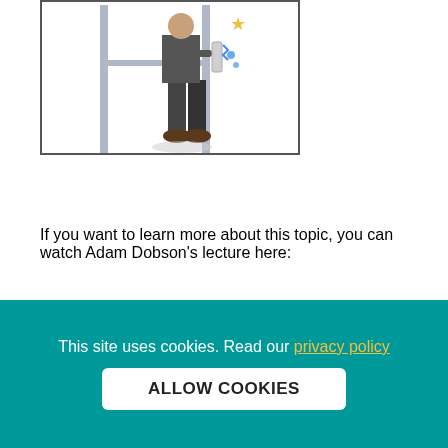[Figure (illustration): Illustration of a person standing next to scaffolding or a pole structure, with a star and spark symbol indicating an electrical or impact hazard near their shoulder/back area. The figure shows dark trousers and brown shoes.]
If you want to learn more about this topic, you can watch Adam Dobson's lecture here:
[Figure (other): Teal/turquoise rounded rectangle button with bold underlined text 'CLICK HERE']
This site uses cookies. Read our privacy policy  ALLOW COOKIES